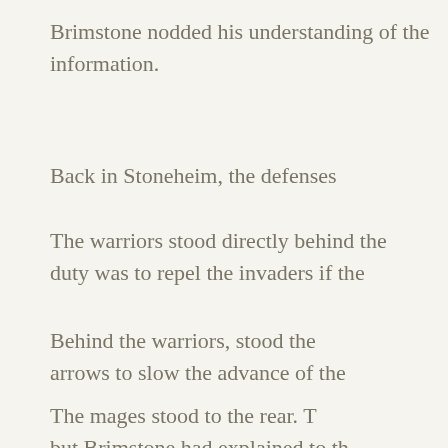Brimstone nodded his understanding of the information.
Back in Stoneheim, the defenses were arranged.
The warriors stood directly behind the wall. Their duty was to repel the invaders if they breached the wall.
Behind the warriors, stood the archers, ready to fire arrows to slow the advance of the enemy.
The mages stood to the rear. Their power was great, but Brimstone had explained to them that their attack spells would be blocked or cancelled out. If their attack spells failed they were to heal others up to the best of their abilities. The priests were to hold off the monsters when Dalghard sent them. If that happened, the priests were to slip out of the city and the mages were to hold the monsters at bay as they away.